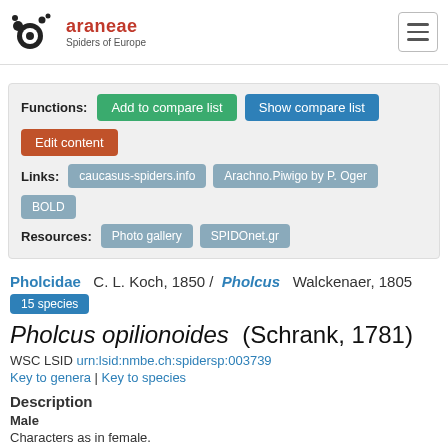araneae Spiders of Europe
Functions: Add to compare list | Show compare list | Edit content
Links: caucasus-spiders.info | Arachno.Piwigo by P. Oger | BOLD
Resources: Photo gallery | SPIDOnet.gr
Pholcidae C. L. Koch, 1850 / Pholcus Walckenaer, 1805
15 species
Pholcus opilionoides (Schrank, 1781)
WSC LSID urn:lsid:nmbe.ch:spidersp:003739
Key to genera | Key to species
Description
Male
Characters as in female.